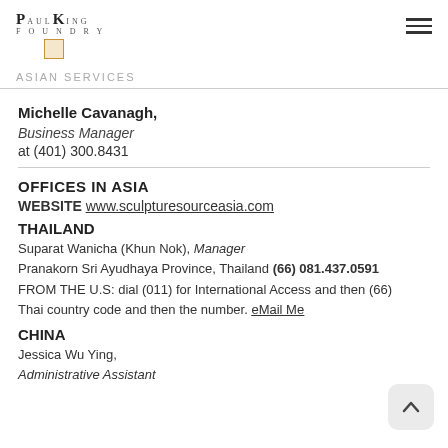PaulKing — logo and hamburger menu
ASIAN SERVICES
Michelle Cavanagh, Business Manager at (401) 300.8431
OFFICES IN ASIA
WEBSITE www.sculpturesourceasia.com
THAILAND
Suparat Wanicha (Khun Nok), Manager
Pranakorn Sri Ayudhaya Province, Thailand (66) 081.437.0591
FROM THE U.S: dial (011) for International Access and then (66) Thai country code and then the number. eMail Me
CHINA
Jessica Wu Ying, Administrative Assistant